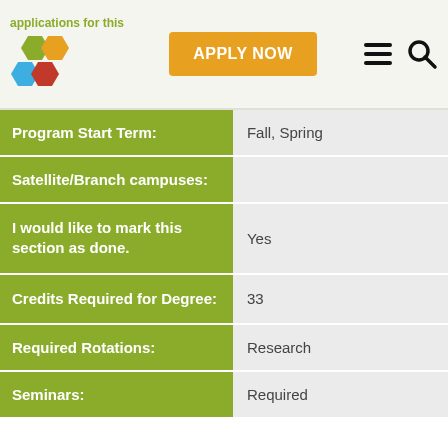applications for this
[Figure (logo): Hexagonal honeycomb logo with green, orange, blue, and red hexagons]
APPLY NOW
| Label | Value |
| --- | --- |
| Program Start Term: | Fall, Spring |
| Satellite/Branch campuses: |  |
| I would like to mark this section as done. | Yes |
| Credits Required for Degree: | 33 |
| Required Rotations: | Research |
| Seminars: | Required |